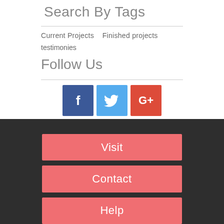Search By Tags
Current Projects   Finished projects
testimonies
Follow Us
[Figure (illustration): Three social media icons: Facebook (dark blue), Twitter (light blue), Google+ (red-orange)]
Visit
Contact
Help